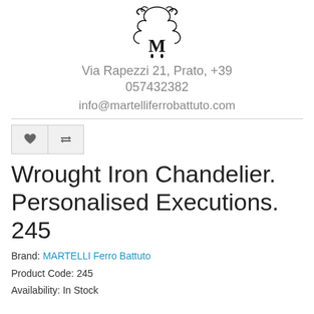[Figure (logo): Decorative script logo with stylized M and ornamental flourishes]
Via Rapezzi 21, Prato, +39 057432382
info@martelliferrobattuto.com
[Figure (other): Heart icon button and compare/filter icon button side by side]
Wrought Iron Chandelier. Personalised Executions. 245
Brand: MARTELLI Ferro Battuto
Product Code: 245
Availability: In Stock